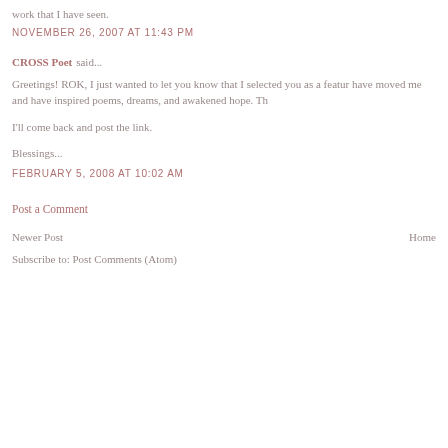work that I have seen.
NOVEMBER 26, 2007 AT 11:43 PM
CROSS Poet said...
Greetings! ROK, I just wanted to let you know that I selected you as a featur have moved me and have inspired poems, dreams, and awakened hope. Th
I'll come back and post the link.
Blessings...
FEBRUARY 5, 2008 AT 10:02 AM
Post a Comment
Newer Post
Home
Subscribe to: Post Comments (Atom)